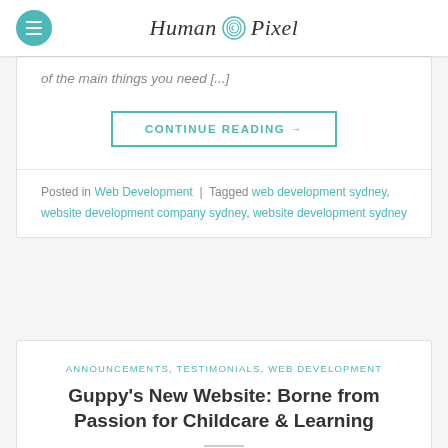Human Pixel
of the main things you need [...]
CONTINUE READING →
Posted in Web Development | Tagged web development sydney, website development company sydney, website development sydney
ANNOUNCEMENTS, TESTIMONIALS, WEB DEVELOPMENT
Guppy's New Website: Borne from Passion for Childcare & Learning
POSTED ON JULY 15, 2019